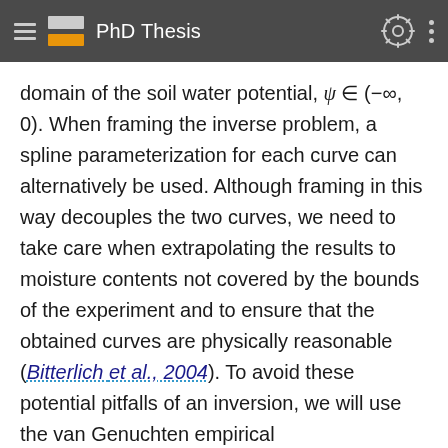PhD Thesis
domain of the soil water potential, ψ ∈ (−∞, 0). When framing the inverse problem, a spline parameterization for each curve can alternatively be used. Although framing in this way decouples the two curves, we need to take care when extrapolating the results to moisture contents not covered by the bounds of the experiment and to ensure that the obtained curves are physically reasonable (Bitterlich et al., 2004). To avoid these potential pitfalls of an inversion, we will use the van Genuchten empirical parameterization for the remainder of the experimentation.